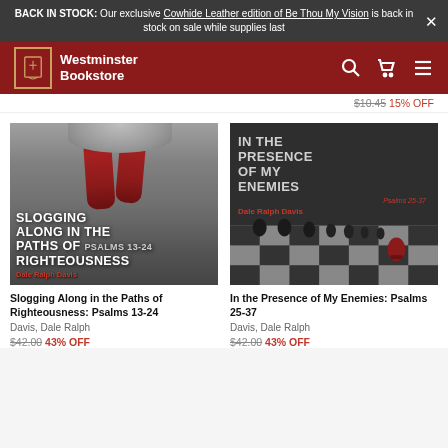BACK IN STOCK: Our exclusive Cowhide Leather edition of Be Thou My Vision is back in stock on sale while supplies last
[Figure (logo): Westminster Bookstore logo with navigation icons]
$10.45 15% OFF
[Figure (illustration): Book cover: Slogging Along in the Paths of Righteousness: Psalms 13-24 by Dale Ralph Davis, showing red boots on rocky ground in grayscale]
[Figure (illustration): Book cover: In the Presence of My Enemies: Psalms 25-37 by Dale Ralph Davis, showing chess pieces on a board with one red pawn]
Slogging Along in the Paths of Righteousness: Psalms 13-24
Davis, Dale Ralph
$42.00 43% OFF
In the Presence of My Enemies: Psalms 25-37
Davis, Dale Ralph
$42.00 43% OFF